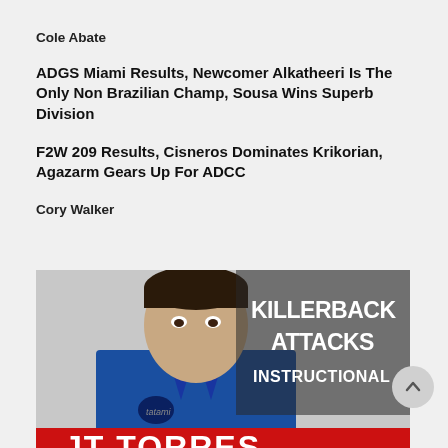Cole Abate
ADGS Miami Results, Newcomer Alkatheeri Is The Only Non Brazilian Champ, Sousa Wins Superb Division
F2W 209 Results, Cisneros Dominates Krikorian, Agazarm Gears Up For ADCC
Cory Walker
[Figure (illustration): Promotional image for 'Killerback Attacks Instructional' featuring JT Torres in a blue gi. Text reads KILLERBACK ATTACKS INSTRUCTIONAL with JT TORRES at the bottom on a red banner.]